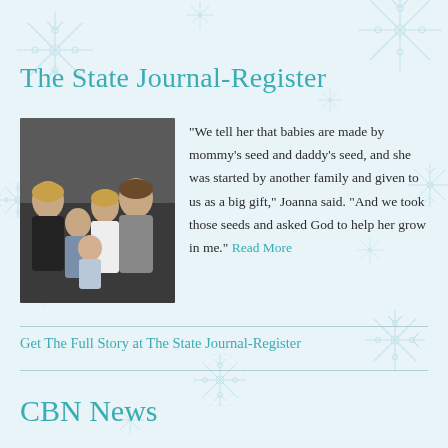The State Journal-Register
[Figure (photo): Family photo showing a woman, man, and three young children posing together against a dark background]
“We tell her that babies are made by mommy’s seed and daddy’s seed, and she was started by another family and given to us as a big gift,” Joanna said. “And we took those seeds and asked God to help her grow in me.” Read More
Get The Full Story at The State Journal-Register
CBN News